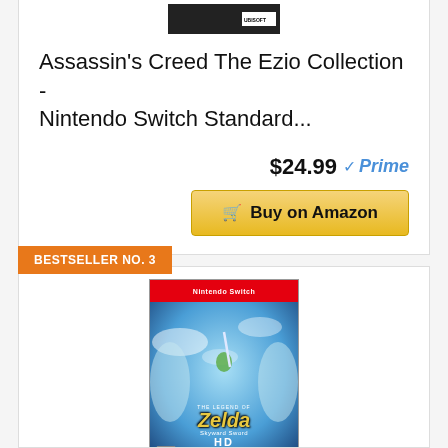[Figure (photo): Assassin's Creed The Ezio Collection game box art thumbnail with Ubisoft logo]
Assassin's Creed The Ezio Collection - Nintendo Switch Standard...
$24.99 ✓Prime
Buy on Amazon
BESTSELLER NO. 3
[Figure (photo): The Legend of Zelda: Skyward Sword HD Nintendo Switch game cover art]
The Legend Of Zelda: Skyward Sword